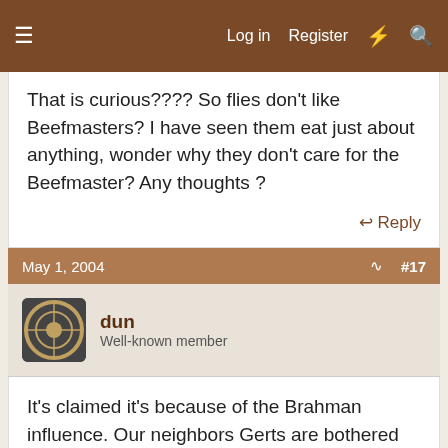Log in   Register
That is curious???? So flies don't like Beefmasters? I have seen them eat just about anything, wonder why they don't care for the Beefmaster? Any thoughts ?
Reply
May 1, 2004   #17
dun
Well-known member
It's claimed it's because of the Brahman influence. Our neighbors Gerts are bothered by flys just as much as the Holstiens right next door to them, so I wonder. Maybe it's those horrible dairy cows that are the problem
dun